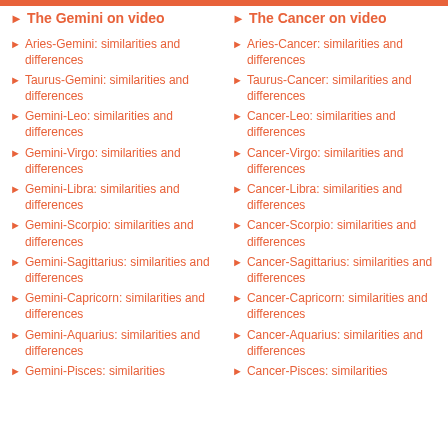The Gemini on video
The Cancer on video
Aries-Gemini: similarities and differences
Aries-Cancer: similarities and differences
Taurus-Gemini: similarities and differences
Taurus-Cancer: similarities and differences
Gemini-Leo: similarities and differences
Cancer-Leo: similarities and differences
Gemini-Virgo: similarities and differences
Cancer-Virgo: similarities and differences
Gemini-Libra: similarities and differences
Cancer-Libra: similarities and differences
Gemini-Scorpio: similarities and differences
Cancer-Scorpio: similarities and differences
Gemini-Sagittarius: similarities and differences
Cancer-Sagittarius: similarities and differences
Gemini-Capricorn: similarities and differences
Cancer-Capricorn: similarities and differences
Gemini-Aquarius: similarities and differences
Cancer-Aquarius: similarities and differences
Gemini-Pisces: similarities
Cancer-Pisces: similarities